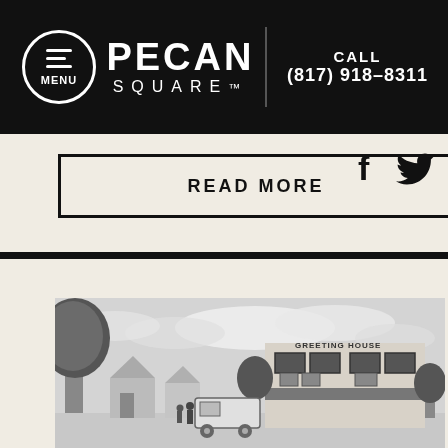MENU | PECAN SQUARE | CALL (817) 918-8311
READ MORE
[Figure (photo): Black and white photo of Pecan Square community with a building labeled GREETING HOUSE, trees, houses, and a food truck in the foreground under a cloudy sky.]